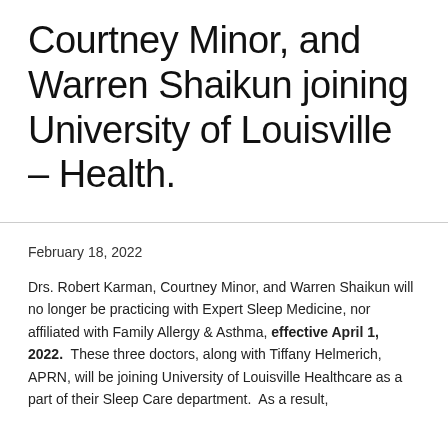Courtney Minor, and Warren Shaikun joining University of Louisville – Health.
February 18, 2022
Drs. Robert Karman, Courtney Minor, and Warren Shaikun will no longer be practicing with Expert Sleep Medicine, nor affiliated with Family Allergy & Asthma, effective April 1, 2022.  These three doctors, along with Tiffany Helmerich, APRN, will be joining University of Louisville Healthcare as a part of their Sleep Care department.  As a result,